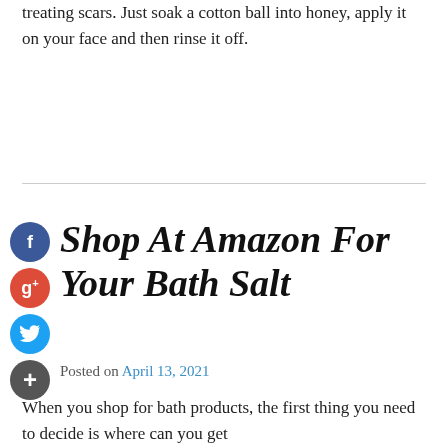treating scars. Just soak a cotton ball into honey, apply it on your face and then rinse it off.
Shop At Amazon For Your Bath Salt
Posted on April 13, 2021
When you shop for bath products, the first thing you need to decide is where can you get